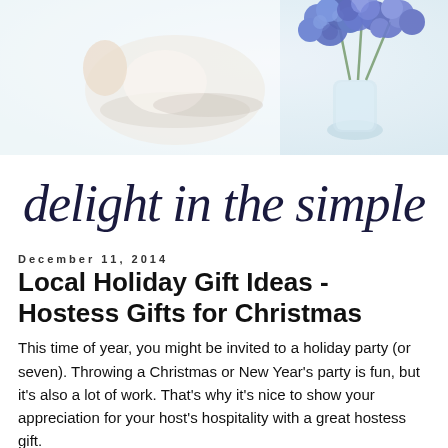[Figure (photo): Hero image of blue hyacinth flowers in a glass vase on a white background, with blurred coffee cup and decorative items]
delight in the simple
December 11, 2014
Local Holiday Gift Ideas - Hostess Gifts for Christmas
This time of year, you might be invited to a holiday party (or seven). Throwing a Christmas or New Year's party is fun, but it's also a lot of work. That's why it's nice to show your appreciation for your host's hospitality with a great hostess gift.